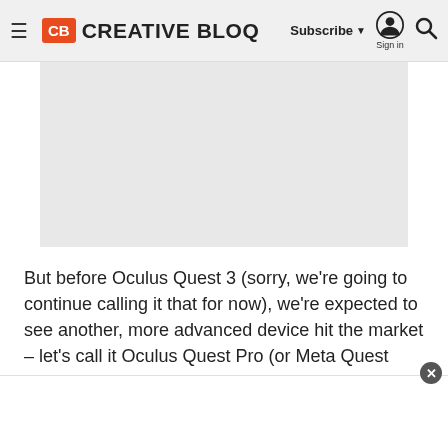CB CREATIVE BLOQ | Subscribe ▾ Sign in 🔍
[Figure (photo): Large grey placeholder image area for an article image]
But before Oculus Quest 3 (sorry, we're going to continue calling it that for now), we're expected to see another, more advanced device hit the market – let's call it Oculus Quest Pro (or Meta Quest Pro). Also dubbed Meta Cambria, the enhanced version of the VR headset may be part of the reason that the Oculus Quest 3 is apparently delayed. It's expected to introduce the VR technology expected to power